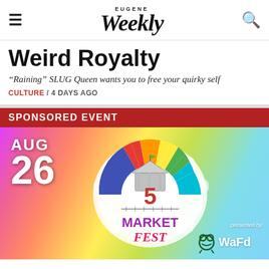EUGENE Weekly
Weird Royalty
“Raining” SLUG Queen wants you to free your quirky self
CULTURE / 4 DAYS AGO
SPONSORED EVENT
[Figure (illustration): Market Fest event advertisement showing AUG 26 date, a colorful rainbow semicircle logo with the number 5 and a gazebo, text reading MARKET FEST in rainbow colors on a multicolored gradient background, presented by WaFd Bank]